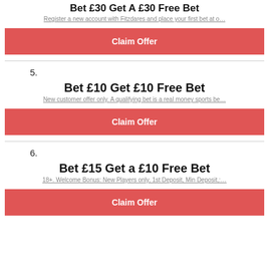Bet £30 Get A £30 Free Bet
Register a new account with Fitzdares and place your first bet at o…
Claim Offer
5.
Bet £10 Get £10 Free Bet
New customer offer only. A qualifying bet is a real money sports be…
Claim Offer
6.
Bet £15 Get a £10 Free Bet
18+. Welcome Bonus: New Players only, 1st Deposit, Min Deposit,:…
Claim Offer